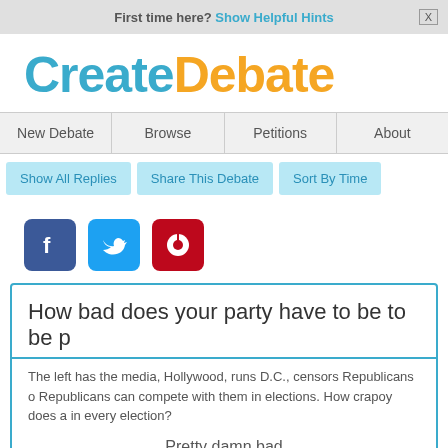First time here? Show Helpful Hints
[Figure (logo): CreateDebate logo with 'Create' in blue and 'Debate' in orange]
New Debate | Browse | Petitions | About
Show All Replies | Share This Debate | Sort By Time
[Figure (illustration): Facebook, Twitter, and Pinterest social share buttons]
How bad does your party have to be to be p
The left has the media, Hollywood, runs D.C., censors Republicans o Republicans can compete with them in elections. How crapoy does a in every election?
Pretty damn bad
Side Score: 4